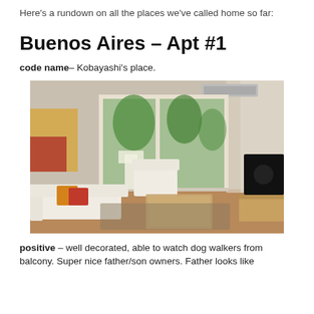Here's a rundown on all the places we've called home so far:
Buenos Aires – Apt #1
code name– Kobayashi's place.
[Figure (photo): Interior photo of a bright Buenos Aires apartment living room with white sofa, colorful throw pillows, glass coffee table, white armchair, large glass sliding doors leading to a balcony with green trees visible outside, air conditioning unit on the wall, and a flat-screen TV on the right side.]
positive – well decorated, able to watch dog walkers from balcony. Super nice father/son owners. Father looks like